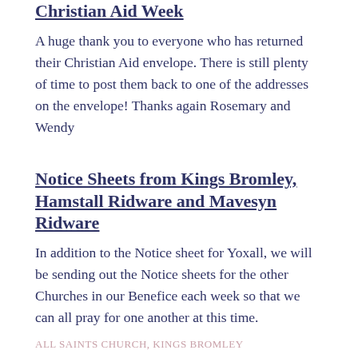Christian Aid Week
A huge thank you to everyone who has returned their Christian Aid envelope. There is still plenty of time to post them back to one of the addresses on the envelope! Thanks again Rosemary and Wendy
Notice Sheets from Kings Bromley, Hamstall Ridware and Mavesyn Ridware
In addition to the Notice sheet for Yoxall, we will be sending out the Notice sheets for the other Churches in our Benefice each week so that we can all pray for one another at this time.
ALL SAINTS CHURCH, KINGS BROMLEY